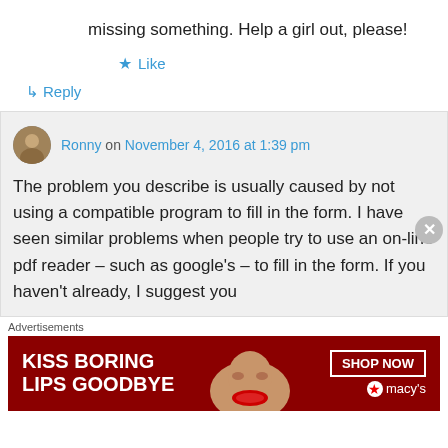missing something. Help a girl out, please!
★ Like
↪ Reply
Ronny on November 4, 2016 at 1:39 pm
The problem you describe is usually caused by not using a compatible program to fill in the form. I have seen similar problems when people try to use an on-line pdf reader – such as google's – to fill in the form. If you haven't already, I suggest you
Advertisements
[Figure (photo): Macy's advertisement banner: KISS BORING LIPS GOODBYE with SHOP NOW button and Macy's star logo, featuring a woman with red lipstick]